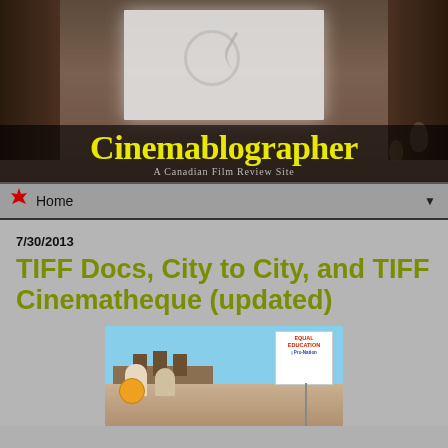[Figure (photo): Website banner header showing a dark room interior with a projection screen, with 'Cinemablographer' title in yellow and subtitle 'A Canadian Film Review Site' in grey]
Home ▼
7/30/2013
TIFF Docs, City to City, and TIFF Cinematheque (updated)
[Figure (photo): Protest photo showing people with signs including 'Equal Education' sign, with Gothic-style building in background under blue sky]